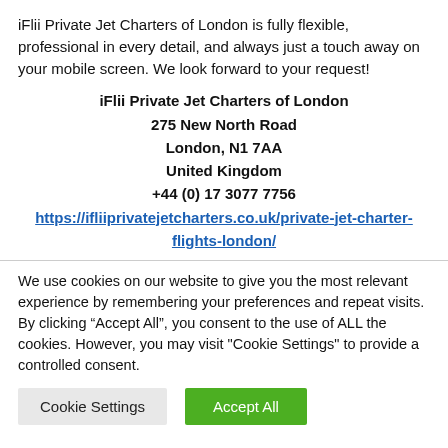iFlii Private Jet Charters of London is fully flexible, professional in every detail, and always just a touch away on your mobile screen. We look forward to your request!
iFlii Private Jet Charters of London
275 New North Road
London, N1 7AA
United Kingdom
+44 (0) 17 3077 7756
https://ifliiprivatejetcharters.co.uk/private-jet-charter-flights-london/
We use cookies on our website to give you the most relevant experience by remembering your preferences and repeat visits. By clicking “Accept All”, you consent to the use of ALL the cookies. However, you may visit "Cookie Settings" to provide a controlled consent.